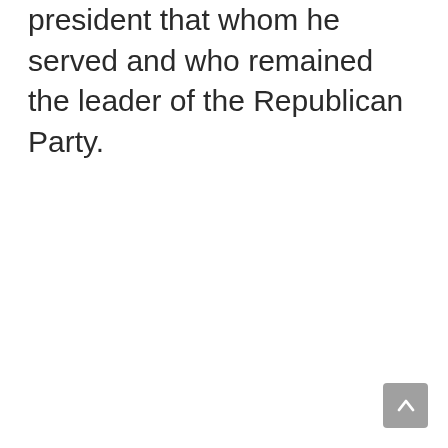president that whom he served and who remained the leader of the Republican Party.